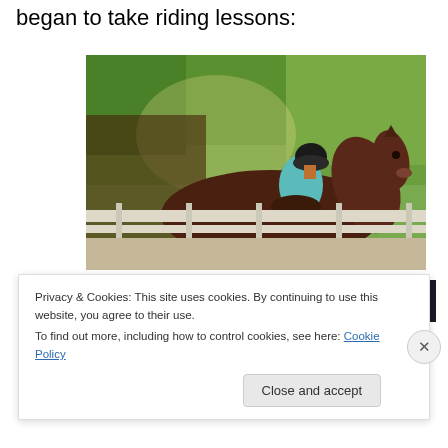began to take riding lessons:
[Figure (photo): A child wearing a black helmet and light blue shirt riding a dark brown horse in an outdoor riding arena, with green trees in the background and a white wooden fence visible.]
[Figure (other): Dark advertisement banner with a teal 'Learn more' button.]
Privacy & Cookies: This site uses cookies. By continuing to use this website, you agree to their use.
To find out more, including how to control cookies, see here: Cookie Policy
Close and accept